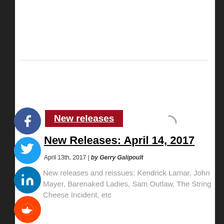New releases
New Releases: April 14, 2017
April 13th, 2017 | by Gerry Galipoult
New releases and reissues: Kendrick Lamar, John Mayer, Barenaked Ladies, Sam Outlaw, The String Cheese Incident, etc